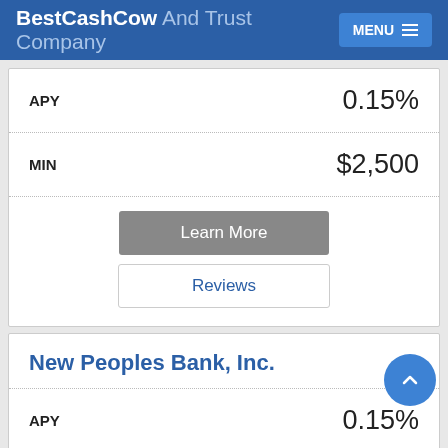BestCashCow And Trust Company MENU
|  |  |
| --- | --- |
| APY | 0.15% |
| MIN | $2,500 |
Learn More
Reviews
New Peoples Bank, Inc.
|  |  |
| --- | --- |
| APY | 0.15% |
| MIN | $2,500 |
Learn More